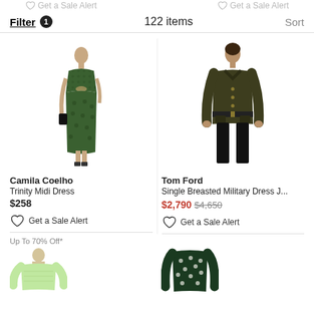Get a Sale Alert  |  Get a Sale Alert
Filter 1  122 items  Sort
[Figure (photo): Model wearing a green patterned sleeveless midi dress by Camila Coelho]
Camila Coelho
Trinity Midi Dress
$258
Get a Sale Alert
[Figure (photo): Model wearing a dark olive military-style jacket with belt by Tom Ford]
Tom Ford
Single Breasted Military Dress J...
$2,790  $4,650
Get a Sale Alert
Up To 70% Off*
[Figure (photo): Model wearing a light green knit top]
[Figure (photo): Dark green floral patterned top]